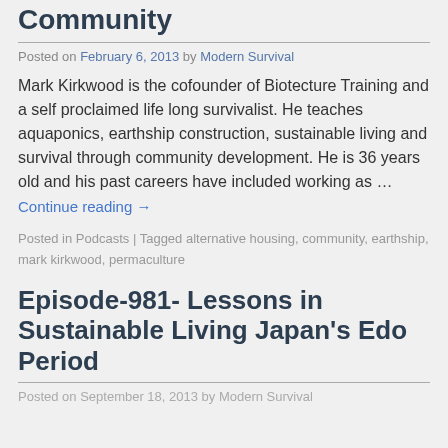Community
Posted on February 6, 2013 by Modern Survival
Mark Kirkwood is the cofounder of Biotecture Training and a self proclaimed life long survivalist.  He teaches aquaponics, earthship construction, sustainable living and survival through community development. He is 36 years old and his past careers have included working as …
Continue reading →
Posted in Podcasts | Tagged alternative housing, community, earthship, mark kirkwood, permaculture
Episode-981- Lessons in Sustainable Living Japan's Edo Period
Posted on September 18, 2013 by Modern Survival